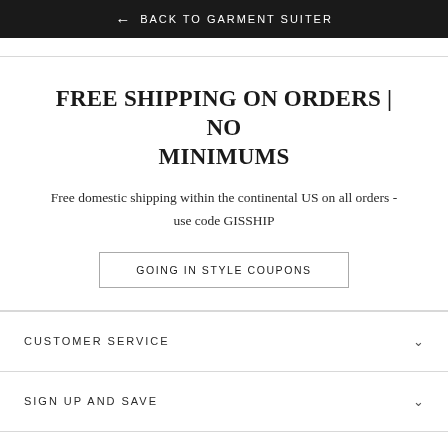← BACK TO GARMENT SUITER
FREE SHIPPING ON ORDERS | NO MINIMUMS
Free domestic shipping within the continental US on all orders - use code GISSHIP
GOING IN STYLE COUPONS
CUSTOMER SERVICE
SIGN UP AND SAVE
© 2022 Going In Style